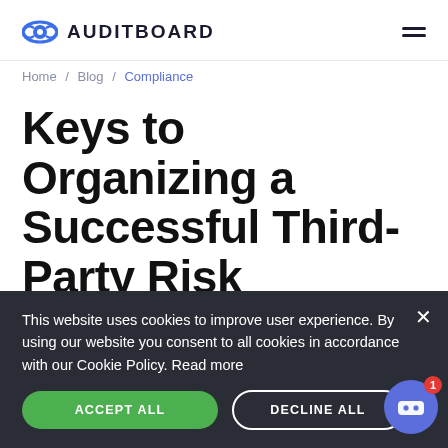AUDITBOARD
Home / Blog / Compliance
Keys to Organizing a Successful Third-Party Risk Management Program
This website uses cookies to improve user experience. By using our website you consent to all cookies in accordance with our Cookie Policy. Read more